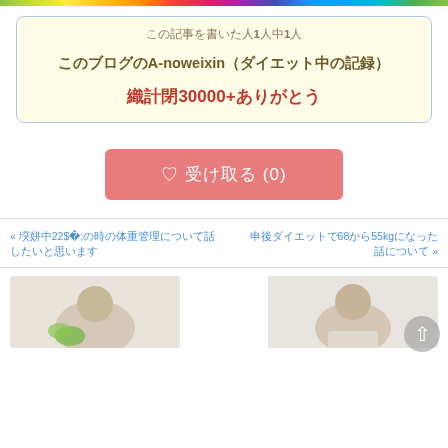この記事を書いた人1人中1人
このブログのA-noweixin (ダイエット中の記録)
累計閲覧30000+ありがとう
[Figure (other): Pink like/favorite button with heart icon and text 収 (0)]
« 妊娠中22週の時の体重管理について話したいと思います
産後ダイエットで68から55kgになった話について »
[Figure (photo): Two partial photos at the bottom: left shows woman with vegetables, right shows woman smiling]